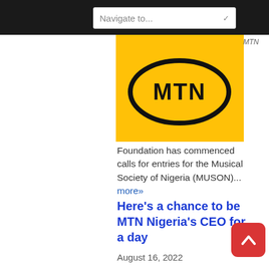Navigate to...
[Figure (logo): MTN logo — black oval with MTN text on yellow background]
Foundation has commenced calls for entries for the Musical Society of Nigeria (MUSON)... more»
Here's a chance to be MTN Nigeria's CEO for a day
August 16, 2022